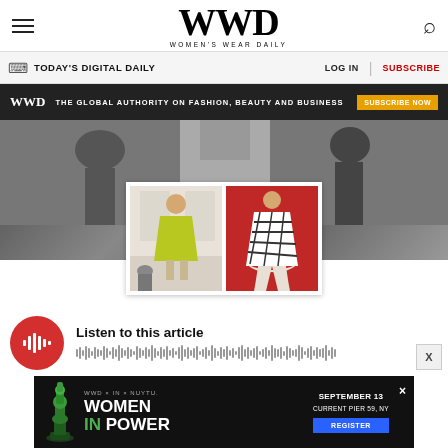WWD — Women's Wear Daily
TODAY'S DIGITAL DAILY    LOG IN    SUBSCRIBE
[Figure (infographic): WWD dark banner ad: THE GLOBAL AUTHORITY ON FASHION, BEAUTY AND BUSINESS with SUBSCRIBE NOW button]
[Figure (photo): Fashion runway photos: model in yellow-green dress and model in black and white printed dress]
Listen to this article
[Figure (infographic): Audio waveform player with red circular play button]
[Figure (infographic): Bottom advertisement: WWD x IN x NUYTU. WOMEN IN POWER. SEPTEMBER 13. CURRENT PIER 59, NY. REGISTER button.]